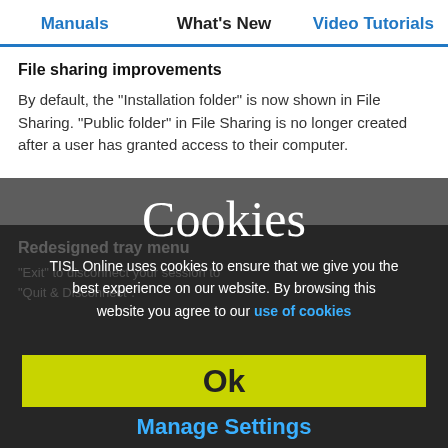Manuals | What's New | Video Tutorials
File sharing improvements
By default, the "Installation folder" is now shown in File Sharing. "Public folder" in File Sharing is no longer created after a user has granted access to their computer.
Redesigned tray menu
"Exit" ... "Quit & Disconnect".
[Figure (screenshot): Cookie consent overlay popup with title 'Cookies', body text about TISL Online cookies, an OK button in yellow-green, and Manage Settings link in blue, overlaid on a dark application screenshot.]